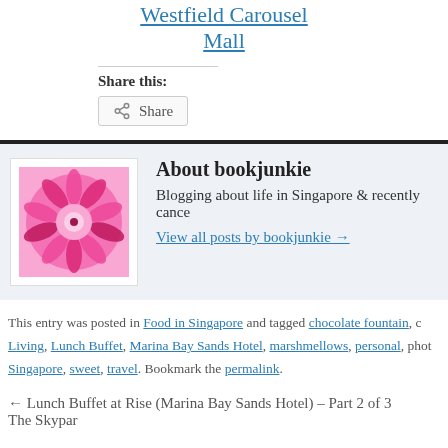Westfield Carousel Mall
Share this:
Share
[Figure (photo): Pink chrysanthemum flower photo used as the author avatar for bookjunkie]
About bookjunkie
Blogging about life in Singapore & recently cance...
View all posts by bookjunkie →
This entry was posted in Food in Singapore and tagged chocolate fountain, c... Living, Lunch Buffet, Marina Bay Sands Hotel, marshmellows, personal, phot... Singapore, sweet, travel. Bookmark the permalink.
← Lunch Buffet at Rise (Marina Bay Sands Hotel) – Part 2 of 3    The Skypar...